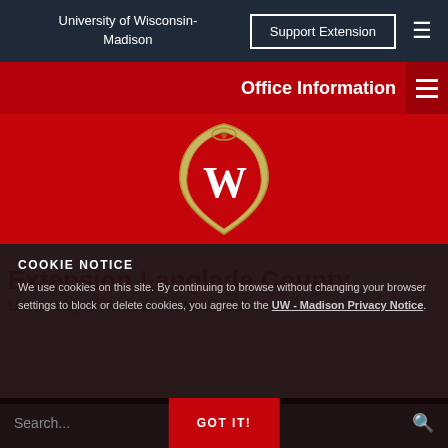University of Wisconsin-Madison | Support Extension
Office Information
[Figure (logo): University of Wisconsin-Madison W crest/shield logo on red background]
Extension Langlade County
University of Wisconsin-Madison
COOKIE NOTICE
We use cookies on this site. By continuing to browse without changing your browser settings to block or delete cookies, you agree to the UW - Madison Privacy Notice.
Search...
GOT IT!